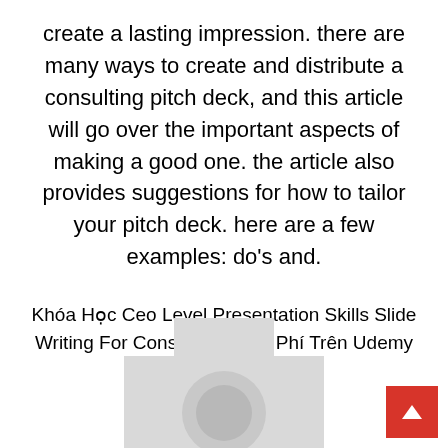create a lasting impression. there are many ways to create and distribute a consulting pitch deck, and this article will go over the important aspects of making a good one. the article also provides suggestions for how to tailor your pitch deck. here are a few examples: do's and.
Khóa Học Ceo Level Presentation Skills Slide Writing For Consulting Miễn Phí Trên Udemy
[Figure (other): Placeholder camera/image icon in light gray, partially visible at bottom of page]